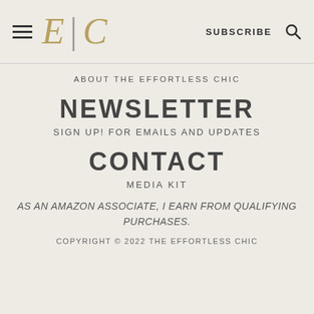E | C  SUBSCRIBE 🔍
ABOUT THE EFFORTLESS CHIC
NEWSLETTER
SIGN UP! FOR EMAILS AND UPDATES
CONTACT
MEDIA KIT
AS AN AMAZON ASSOCIATE, I EARN FROM QUALIFYING PURCHASES.
COPYRIGHT © 2022 THE EFFORTLESS CHIC